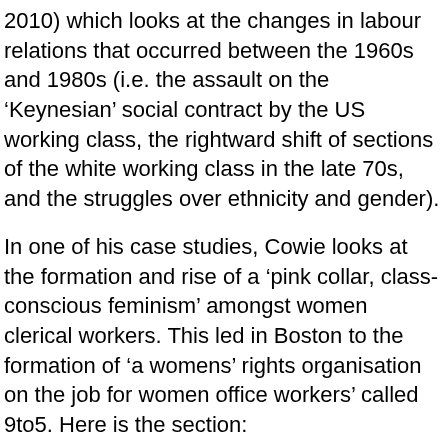2010) which looks at the changes in labour relations that occurred between the 1960s and 1980s (i.e. the assault on the ‘Keynesian’ social contract by the US working class, the rightward shift of sections of the white working class in the late 70s, and the struggles over ethnicity and gender).
In one of his case studies, Cowie looks at the formation and rise of a ‘pink collar, class-conscious feminism’ amongst women clerical workers. This led in Boston to the formation of ‘a womens’ rights organisation on the job for women office workers’ called 9to5. Here is the section:
The organization began not as a union but as a simple citizens’ advocacy group, which Nussbaum found to be too “ephemeral.” As she explained, 9to5 would